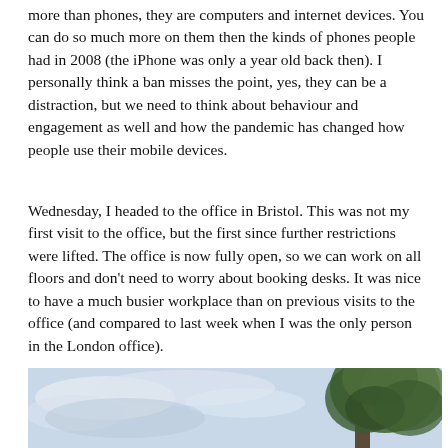more than phones, they are computers and internet devices. You can do so much more on them then the kinds of phones people had in 2008 (the iPhone was only a year old back then). I personally think a ban misses the point, yes, they can be a distraction, but we need to think about behaviour and engagement as well and how the pandemic has changed how people use their mobile devices.
Wednesday, I headed to the office in Bristol. This was not my first visit to the office, but the first since further restrictions were lifted. The office is now fully open, so we can work on all floors and don't need to worry about booking desks. It was nice to have a much busier workplace than on previous visits to the office (and compared to last week when I was the only person in the London office).
[Figure (photo): Outdoor photo showing a partly cloudy sky on the left and a tree with green foliage on the right side of the frame.]